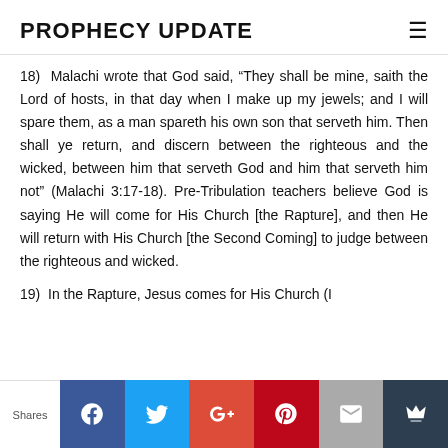PROPHECY UPDATE
18)  Malachi wrote that God said, “They shall be mine, saith the Lord of hosts, in that day when I make up my jewels; and I will spare them, as a man spareth his own son that serveth him. Then shall ye return, and discern between the righteous and the wicked, between him that serveth God and him that serveth him not” (Malachi 3:17-18). Pre-Tribulation teachers believe God is saying He will come for His Church [the Rapture], and then He will return with His Church [the Second Coming] to judge between the righteous and wicked.
19)  In the Rapture, Jesus comes for His Church (I